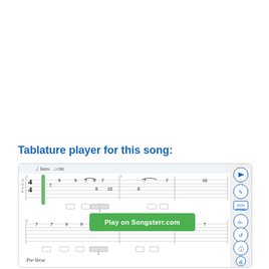Tablature player for this song:
[Figure (screenshot): Guitar tablature player interface showing Intro and Pre-Verse sections in 4/4 time at tempo 96, with fret numbers on six strings, a green 'Play on Songsterr.com' button overlay, and control icons on the right side (play, edit, speed 100%, tune, loop, info, print).]